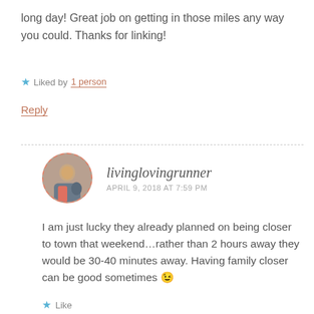long day! Great job on getting in those miles any way you could. Thanks for linking!
Liked by 1 person
Reply
livinglovingrunner
APRIL 9, 2018 AT 7:59 PM
I am just lucky they already planned on being closer to town that weekend…rather than 2 hours away they would be 30-40 minutes away. Having family closer can be good sometimes 😉
Like